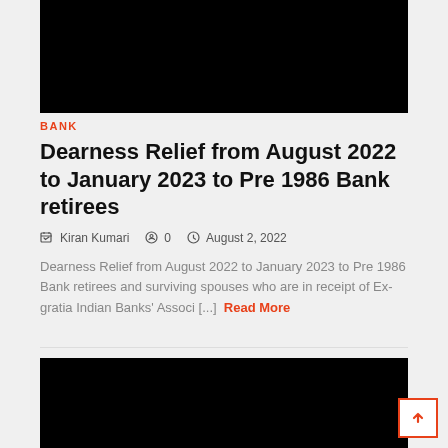[Figure (photo): Black image placeholder at top of article]
BANK
Dearness Relief from August 2022 to January 2023 to Pre 1986 Bank retirees
Kiran Kumari  0  August 2, 2022
Dearness Relief from August 2022 to January 2023 to Pre 1986 Bank retirees and surviving spouses who are in receipt of Ex-gratia Indian Banks' Associ [...] Read More
[Figure (photo): Black image placeholder at bottom of article]